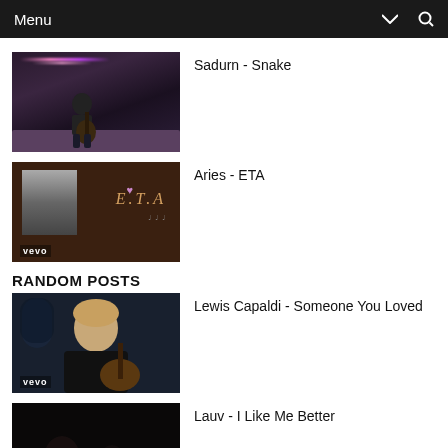Menu
[Figure (photo): Thumbnail of a person playing guitar in a dimly lit room with pink/purple string lights]
Sadurn - Snake
[Figure (photo): Thumbnail of Aries ETA music video/album art with brown background and VEVO watermark]
Aries - ETA
RANDOM POSTS
[Figure (photo): Thumbnail of Lewis Capaldi playing acoustic guitar with VEVO watermark]
Lewis Capaldi - Someone You Loved
[Figure (photo): Dark thumbnail with Sofar logo]
Lauv - I Like Me Better